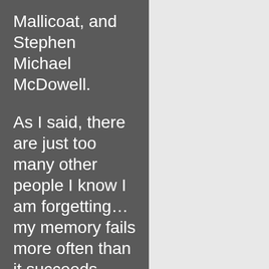Mallicoat, and Stephen Michael McDowell.

As I said, there are just too many other people I know I am forgetting… my memory fails more often than it succeeds.